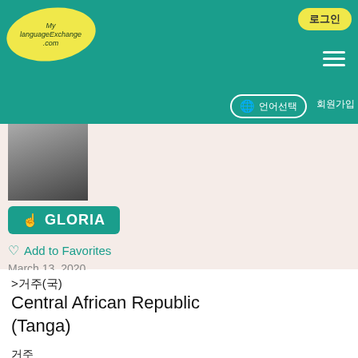[Figure (screenshot): MyLanguageExchange.com website header with teal background, yellow oval logo, login button, hamburger menu, globe language selector, and register link]
[Figure (photo): Profile photo of user GLORIA, partially visible, dark clothing, greyscale]
GLORIA
Add to Favorites
March 13, 2020
>거주(국)
Central African Republic
(Tanga)
거주
□□□□□
직업
□□□□
직업